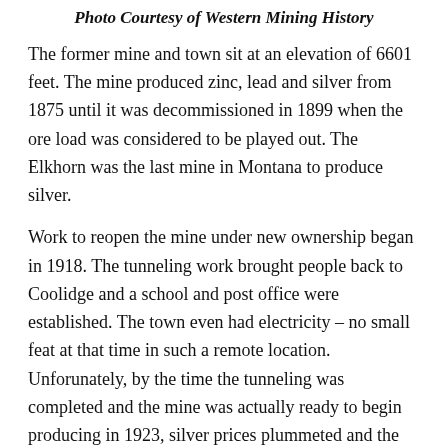Photo Courtesy of Western Mining History
The former mine and town sit at an elevation of 6601 feet. The mine produced zinc, lead and silver from 1875 until it was decommissioned in 1899 when the ore load was considered to be played out. The Elkhorn was the last mine in Montana to produce silver.
Work to reopen the mine under new ownership began in 1918. The tunneling work brought people back to Coolidge and a school and post office were established. The town even had electricity – no small feat at that time in such a remote location. Unforunately, by the time the tunneling was completed and the mine was actually ready to begin producing in 1923, silver prices plummeted and the mine went bust.
Subsequently, a dam collapse wiped out several sections of rail line and the town lost rail service marking the beginning of the end. The school and post